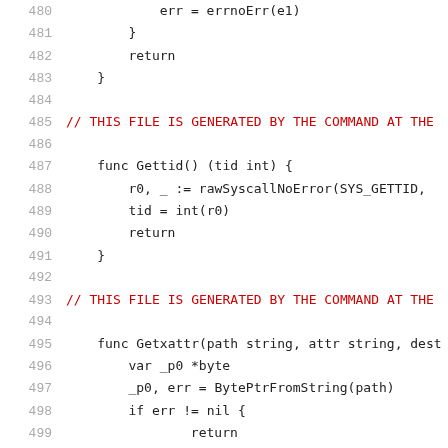480    err = errnoErr(e1)
481    }
482    return
483 }
484
485 // THIS FILE IS GENERATED BY THE COMMAND AT THE
486
487 func Gettid() (tid int) {
488    r0, _ := rawSyscallNoError(SYS_GETTID,
489    tid = int(r0)
490    return
491 }
492
493 // THIS FILE IS GENERATED BY THE COMMAND AT THE
494
495 func Getxattr(path string, attr string, dest []
496    var _p0 *byte
497    _p0, err = BytePtrFromString(path)
498    if err != nil {
499        return
500    }